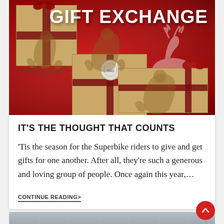[Figure (photo): Promotional image for 'Gift Exchange' with a red background, wrapped gift boxes with brown kraft paper and dark red ribbon bows, motorcycle rider figurines on the boxes, a deer silhouette in white, and large white bold text reading 'GIFT EXCHANGE' in the upper right.]
IT'S THE THOUGHT THAT COUNTS
'Tis the season for the Superbike riders to give and get gifts for one another. After all, they're such a generous and loving group of people. Once again this year,…
CONTINUE READING>
[Figure (photo): Partial view of another article image at the bottom, showing a grey/blue surface.]